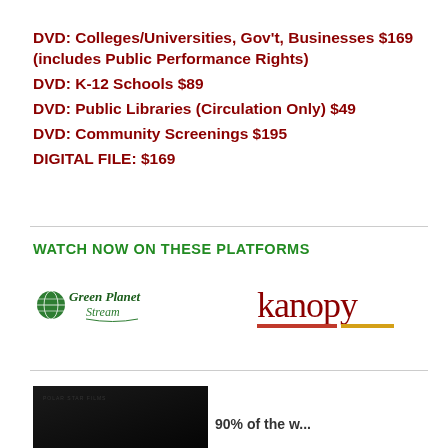DVD: Colleges/Universities, Gov't, Businesses $169 (includes Public Performance Rights)
DVD: K-12 Schools $89
DVD: Public Libraries (Circulation Only) $49
DVD: Community Screenings $195
DIGITAL FILE:  $169
WATCH NOW ON THESE PLATFORMS
[Figure (logo): Green Planet Stream logo — green globe icon with 'Green Planet Stream' text in green italic]
[Figure (logo): Kanopy logo — 'kanopy' in red/maroon lowercase serif font with red and yellow underline bars]
[Figure (photo): Dark film still image, partially visible at bottom of page]
90% of the w...